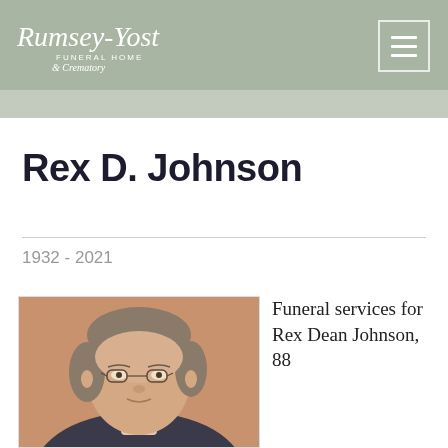Rumsey-Yost Funeral Home & Crematory
Rex D. Johnson
1932 - 2021
[Figure (photo): Portrait photograph of Rex D. Johnson, an older man with glasses and gray-brown hair, wearing a suit, against a brown/orange background.]
Funeral services for Rex Dean Johnson, 88